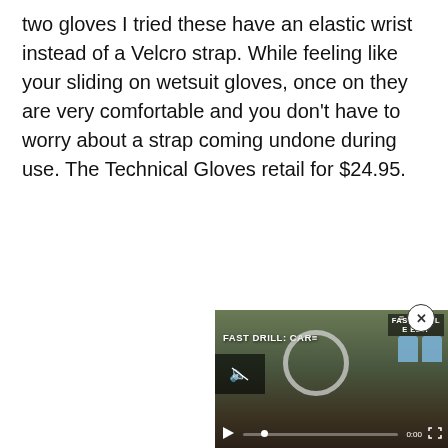two gloves I tried these have an elastic wrist instead of a Velcro strap. While feeling like your sliding on wetsuit gloves, once on they are very comfortable and you don't have to worry about a strap coming undone during use. The Technical Gloves retail for $24.95.
[Figure (screenshot): Embedded video player screenshot showing 'FAST DRILL: CAR' video with play button, mute icon, progress bar at 0:00, and target icons visible. A close (x) button appears in the top-right corner of the video popup.]